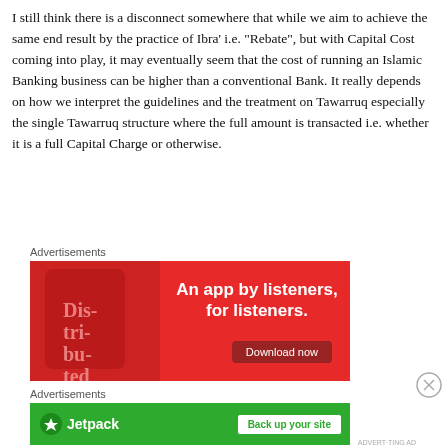I still think there is a disconnect somewhere that while we aim to achieve the same end result by the practice of Ibra' i.e. “Rebate”, but with Capital Cost coming into play, it may eventually seem that the cost of running an Islamic Banking business can be higher than a conventional Bank. It really depends on how we interpret the guidelines and the treatment on Tawarruq especially the single Tawarruq structure where the full amount is transacted i.e. whether it is a full Capital Charge or otherwise.
Advertisements
[Figure (other): Advertisement banner for a podcast app with text 'An app by listeners, for listeners.' and a 'Download now' button on red background with a phone showing 'Dis-trib-uted']
Advertisements
[Figure (other): Jetpack advertisement banner with green background showing Jetpack logo and 'Back up your site' button]